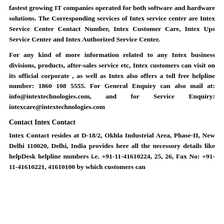fastest growing IT companies operated for both software and hardware solutions. The Corresponding services of Intex service center are Intex Service Center Contact Number, Intex Customer Care, Intex Ups Service Center and Intex Authorized Service Center.
For any kind of more information related to any Intex business divisions, products, after-sales service etc, Intex customers can visit on its official corporate , as well as Intex also offers a toll free helpline number: 1860 108 5555. For General Enquiry can also mail at: info@intextechnologies.com, and for Service Enquiry: intexcare@intextechnologies.com
Contact Intex Contact
Intex Contact resides at D-18/2, Okhla Industrial Area, Phase-II, New Delhi 110020, Delhi, India provides here all the necessory details like helpDesk helpline numbers i.e. +91-11-41610224, 25, 26, Fax No: +91-11-41610221, 41610100 by which customers can